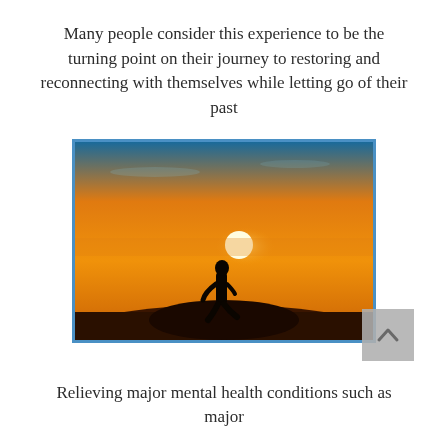Many people consider this experience to be the turning point on their journey to restoring and reconnecting with themselves while letting go of their past
[Figure (photo): Silhouette of a person standing on a rocky hilltop with arms slightly raised, against a vivid orange and golden sunset sky with the sun visible near the horizon.]
Relieving major mental health conditions such as major